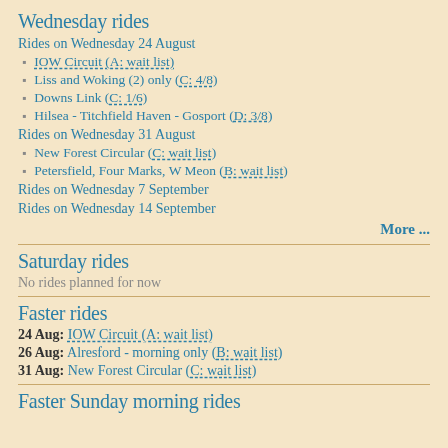Wednesday rides
Rides on Wednesday 24 August
IOW Circuit (A: wait list)
Liss and Woking (2) only (C: 4/8)
Downs Link (C: 1/6)
Hilsea - Titchfield Haven - Gosport (D: 3/8)
Rides on Wednesday 31 August
New Forest Circular (C: wait list)
Petersfield, Four Marks, W Meon (B: wait list)
Rides on Wednesday 7 September
Rides on Wednesday 14 September
More ...
Saturday rides
No rides planned for now
Faster rides
24 Aug: IOW Circuit (A: wait list)
26 Aug: Alresford - morning only (B: wait list)
31 Aug: New Forest Circular (C: wait list)
Faster Sunday morning rides